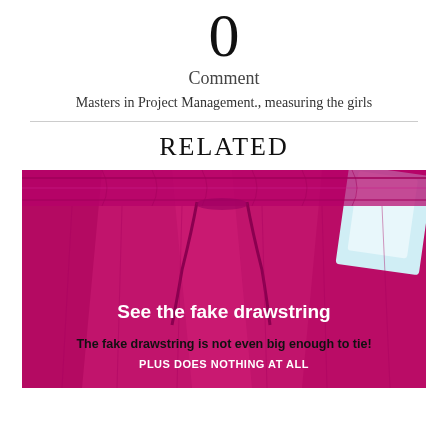0
Comment
Masters in Project Management., measuring the girls
RELATED
[Figure (photo): Close-up photo of magenta/hot-pink shorts with a drawstring waistband and a clothing tag visible. Overlaid text reads: 'See the fake drawstring', 'The fake drawstring is not even big enough to tie!', 'PLUS DOES NOTHING AT ALL']